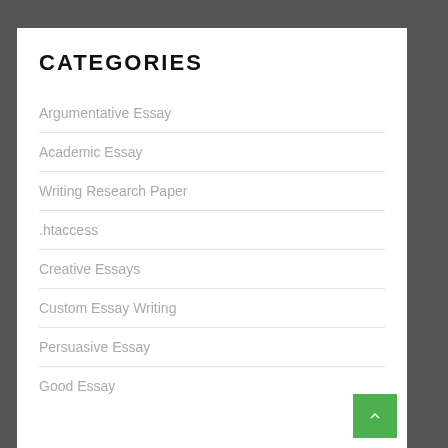CATEGORIES
Argumentative Essay
Academic Essay
Writing Research Paper
.htaccess
Creative Essays
Custom Essay Writing
Persuasive Essay
Good Essay